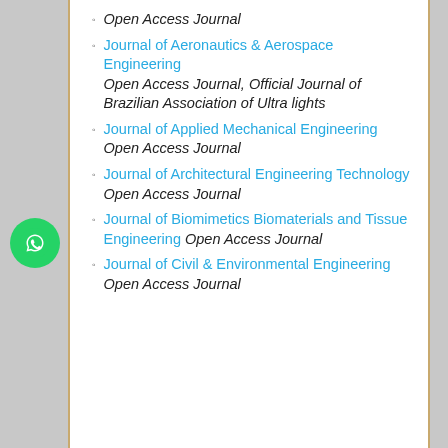Open Access Journal
Journal of Aeronautics & Aerospace Engineering Open Access Journal, Official Journal of Brazilian Association of Ultra lights
Journal of Applied Mechanical Engineering Open Access Journal
Journal of Architectural Engineering Technology Open Access Journal
Journal of Biomimetics Biomaterials and Tissue Engineering Open Access Journal
Journal of Civil & Environmental Engineering Open Access Journal